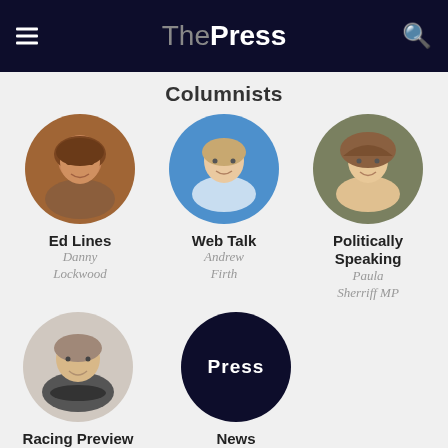The Press
Columnists
[Figure (photo): Circular portrait photo of Ed Lines columnist Danny Lockwood, older man]
Ed Lines
Danny Lockwood
[Figure (photo): Circular portrait photo of Web Talk columnist Andrew Firth, man in blue shirt against blue background]
Web Talk
Andrew Firth
[Figure (photo): Circular portrait photo of Politically Speaking columnist Paula Sherriff MP, smiling woman]
Politically Speaking
Paula Sherriff MP
[Figure (photo): Circular portrait photo of Racing Preview columnist Mike Smith, man in suit]
Racing Preview
Mike Smith
[Figure (logo): Circular dark navy blue Press logo with white text 'Press']
News
The Press